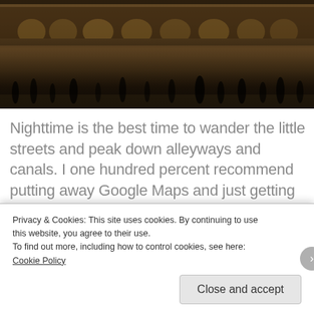[Figure (photo): Nighttime photo of a large Italian square (likely St. Mark's Square, Venice) with people walking, illuminated buildings with arched facades in the background, warm ambient lighting.]
Nighttime is the best time to wander the little streets and peak down alleyways and canals. I one hundred percent recommend putting away Google Maps and just getting lost for a bit. You'll eventually reach the edge of the city, but the best parts of Venice are hidden away, discoverable by foot, inhabited by local kids playing soccer in the streets.
Privacy & Cookies: This site uses cookies. By continuing to use this website, you agree to their use.
To find out more, including how to control cookies, see here: Cookie Policy